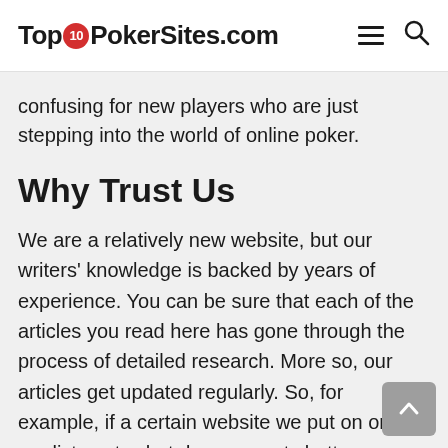TopTENPokerSites.com
confusing for new players who are just stepping into the world of online poker.
Why Trust Us
We are a relatively new website, but our writers' knowledge is backed by years of experience. You can be sure that each of the articles you read here has gone through the process of detailed research. More so, our articles get updated regularly. So, for example, if a certain website we put on one of our lists gets shut down, or gets better or worse for whatever reason, we will be ready to re-rank it appropriately as soon as